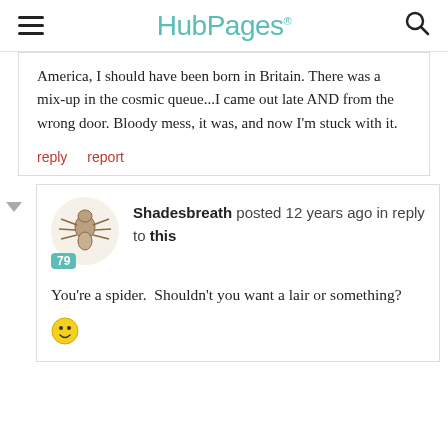HubPages
America, I should have been born in Britain. There was a mix-up in the cosmic queue...I came out late AND from the wrong door. Bloody mess, it was, and now I'm stuck with it.
reply   report
Shadesbreath posted 12 years ago in reply to this
You're a spider.  Shouldn't you want a lair or something?